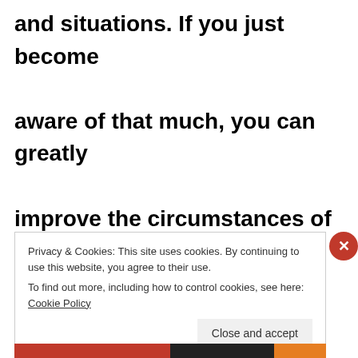and situations. If you just become aware of that much, you can greatly improve the circumstances of your life. Then you know what you need to do to remain centered and not let
Privacy & Cookies: This site uses cookies. By continuing to use this website, you agree to their use.
To find out more, including how to control cookies, see here: Cookie Policy
Close and accept